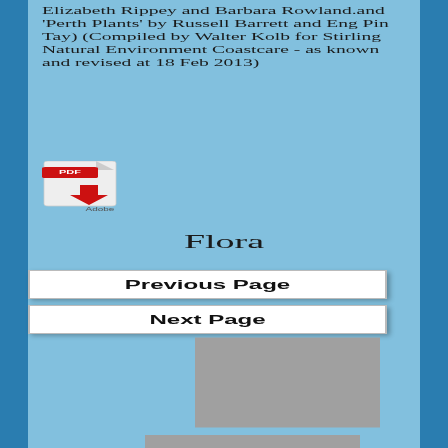Elizabeth Rippey and Barbara Rowland.and 'Perth Plants' by Russell Barrett and Eng Pin Tay) (Compiled by Walter Kolb for Stirling Natural Environment Coastcare - as known and revised at 18 Feb 2013)
[Figure (illustration): Adobe PDF download icon with red downward arrow and 'Adobe' label]
Flora
Previous Page
Next Page
[Figure (other): Gray placeholder rectangle]
[Figure (other): Gray placeholder rectangle (partially visible)]